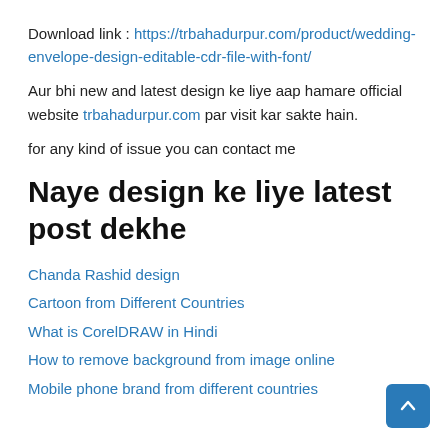Download link : https://trbahadurpur.com/product/wedding-envelope-design-editable-cdr-file-with-font/
Aur bhi new and latest design ke liye aap hamare official website trbahadurpur.com par visit kar sakte hain.
for any kind of issue you can contact me
Naye design ke liye latest post dekhe
Chanda Rashid design
Cartoon from Different Countries
What is CorelDRAW in Hindi
How to remove background from image online
Mobile phone brand from different countries